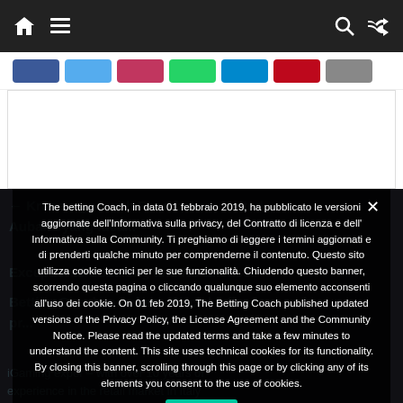Navigation bar with home, menu, search, and shuffle icons
[Figure (screenshot): Social share buttons bar with colored buttons (Facebook, Twitter, Instagram, WhatsApp, Telegram, Pinterest, Reddit)]
The betting Coach, in data 01 febbraio 2019, ha pubblicato le versioni aggiornate dell'Informativa sulla privacy, del Contratto di licenza e dell' Informativa sulla Community. Ti preghiamo di leggere i termini aggiornati e di prenderti qualche minuto per comprenderne il contenuto. Questo sito utilizza cookie tecnici per le sue funzionalità. Chiudendo questo banner, scorrendo questa pagina o cliccando qualunque suo elemento acconsenti all'uso dei cookie. On 01 feb 2019, The Betting Coach published updated versions of the Privacy Policy, the License Agreement and the Community Notice. Please read the updated terms and take a few minutes to understand the content. This site uses technical cookies for its functionality. By closing this banner, scrolling through this page or by clicking any of its elements you consent to the use of cookies.
Ok